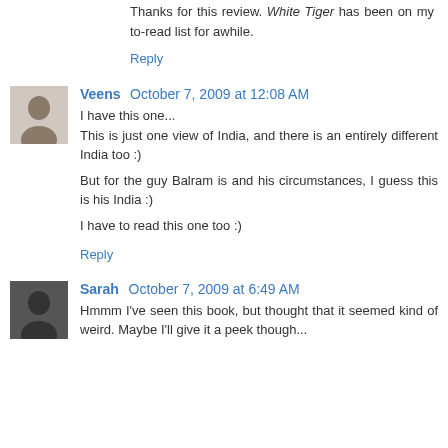Thanks for this review. White Tiger has been on my to-read list for awhile.
Reply
Veens  October 7, 2009 at 12:08 AM
I have this one...
This is just one view of India, and there is an entirely different India too :)

But for the guy Balram is and his circumstances, I guess this is his India :)

I have to read this one too :)
Reply
Sarah  October 7, 2009 at 6:49 AM
Hmmm I've seen this book, but thought that it seemed kind of weird. Maybe I'll give it a peek though...